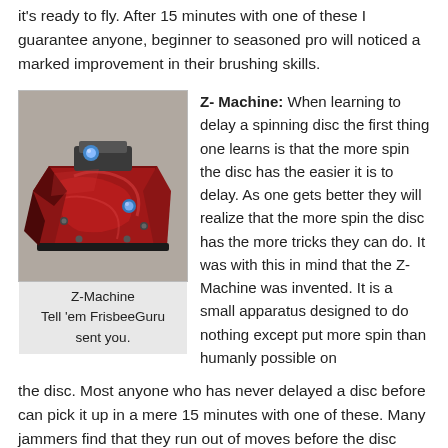it's ready to fly. After 15 minutes with one of these I guarantee anyone, beginner to seasoned pro will noticed a marked improvement in their brushing skills.
[Figure (photo): Photo of the Z-Machine, a red and black mechanical spinning device apparatus on a grey surface]
Z-Machine
Tell 'em FrisbeeGuru
sent you.
Z- Machine: When learning to delay a spinning disc the first thing one learns is that the more spin the disc has the easier it is to delay. As one gets better they will realize that the more spin the disc has the more tricks they can do. It was with this in mind that the Z-Machine was invented. It is a small apparatus designed to do nothing except put more spin than humanly possible on the disc. Most anyone who has never delayed a disc before can pick it up in a mere 15 minutes with one of these. Many jammers find that they run out of moves before the disc runs out of spin. The pros use these to perfect new moves before trying them in the public eye.